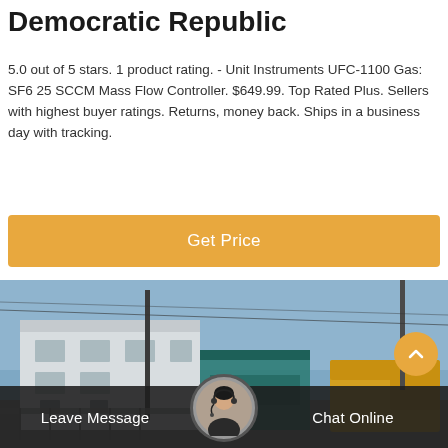Democratic Republic
5.0 out of 5 stars. 1 product rating. - Unit Instruments UFC-1100 Gas: SF6 25 SCCM Mass Flow Controller. $649.99. Top Rated Plus. Sellers with highest buyer ratings. Returns, money back. Ships in a business day with tracking.
[Figure (other): Orange 'Get Price' button]
[Figure (photo): Industrial building exterior with a yellow truck, metal poles, and teal-colored gate structure under a blue sky]
Leave Message   Chat Online